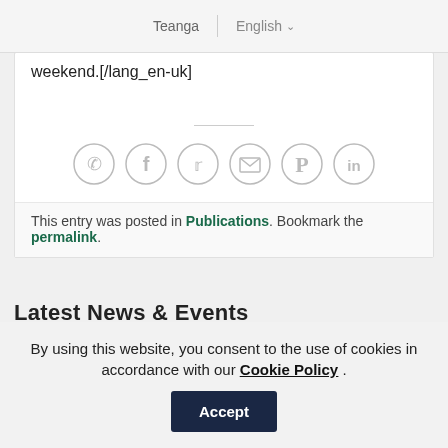Teanga | English ▾
weekend.[/lang_en-uk]
[Figure (other): Row of six circular social media share icons: WhatsApp, Facebook, Twitter, Email, Pinterest, LinkedIn]
This entry was posted in Publications. Bookmark the permalink.
Latest News & Events
By using this website, you consent to the use of cookies in accordance with our Cookie Policy . Accept